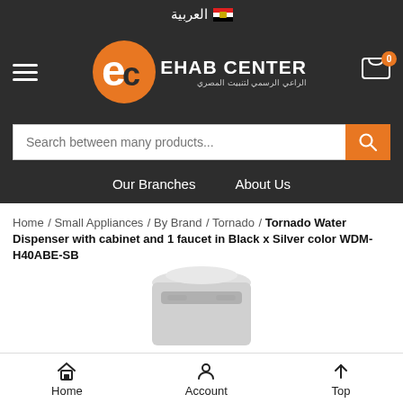العربية
[Figure (logo): Ehab Center logo with orange EC emblem and Arabic subtitle الراعي الرسمي لتنبيت المصري]
Search between many products...
Our Branches   About Us
Home / Small Appliances / By Brand / Tornado / Tornado Water Dispenser with cabinet and 1 faucet in Black x Silver color WDM-H40ABE-SB
[Figure (photo): Partial view of Tornado Water Dispenser product image, white/silver color, top portion visible]